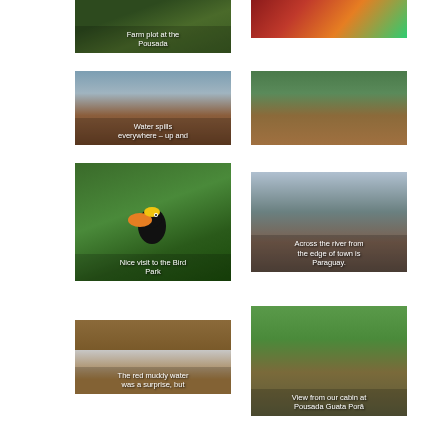[Figure (photo): Farm plot at the Pousada - green vegetation, dark soil]
[Figure (photo): Colorful mosaic or decorative artwork with red and orange tones]
[Figure (photo): Waterfalls with text overlay: Water spills everywhere - up and]
[Figure (photo): Iguazu Falls panorama from a distance, lush green trees]
[Figure (photo): Toucan at the Bird Park with text: Nice visit to the Bird Park]
[Figure (photo): View across river to Paraguay from edge of town]
[Figure (photo): Red muddy water at the falls with text: The red muddy water was a surprise, but]
[Figure (photo): View from our cabin at Pousada Guata Porā - tropical greenery and wooden structure]